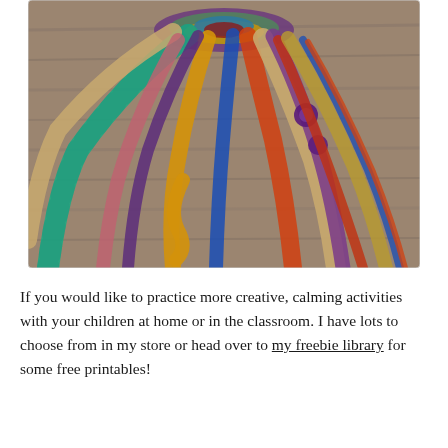[Figure (photo): Photo of colorful fabric ribbons or sari silk strips bundled together at the top, fanning out across a rustic wooden surface. The ribbons display various colors including teal, yellow, orange, red, purple, pink, and beige, with some featuring embroidered or printed patterns.]
If you would like to practice more creative, calming activities with your children at home or in the classroom. I have lots to choose from in my store or head over to my freebie library for some free printables!